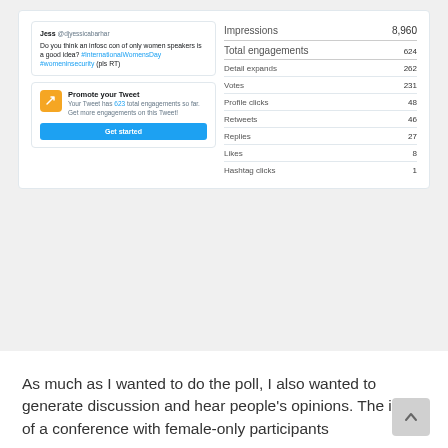[Figure (screenshot): Screenshot of a Twitter/X analytics view showing a tweet by Jess (@djyessicabarhar) asking 'Do you think an infosc con of only women speakers is a good idea? #InternationalWomensDay #womeninsecurity (pls RT)' with a 'Promote your Tweet' prompt box below it, and on the right side Twitter analytics stats: Impressions 8,960; Total engagements 624; Detail expands 262; Votes 231; Profile clicks 48; Retweets 46; Replies 27; Likes 8; Hashtag clicks 1]
As much as I wanted to do the poll, I also wanted to generate discussion and hear people's opinions. The idea of a conference with female-only participants